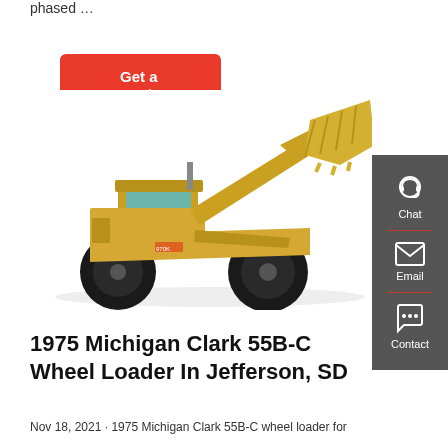phased …
Get a quote
[Figure (photo): Yellow wheel loader / front loader construction machine (resembles a CAT 970K) photographed on a white background, shown at an angle with the bucket raised.]
Chat
Email
Contact
1975 Michigan Clark 55B-C Wheel Loader In Jefferson, SD
Nov 18, 2021 · 1975 Michigan Clark 55B-C wheel loader for